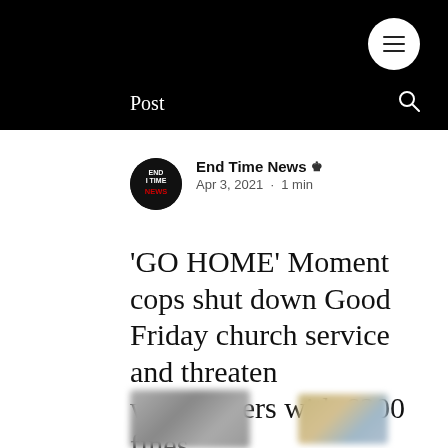Post
End Time News · Apr 3, 2021 · 1 min
'GO HOME' Moment cops shut down Good Friday church service and threaten worshippers with £200 fines